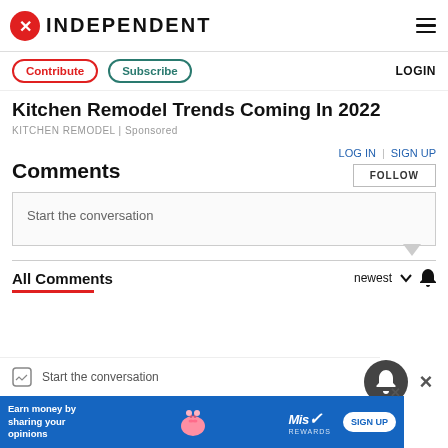INDEPENDENT
Contribute | Subscribe | LOGIN
Kitchen Remodel Trends Coming In 2022
KITCHEN REMODEL | Sponsored
Comments
LOG IN | SIGN UP
FOLLOW
Start the conversation
All Comments
newest
Start the conversation
Earn money by sharing your opinions SIGN UP